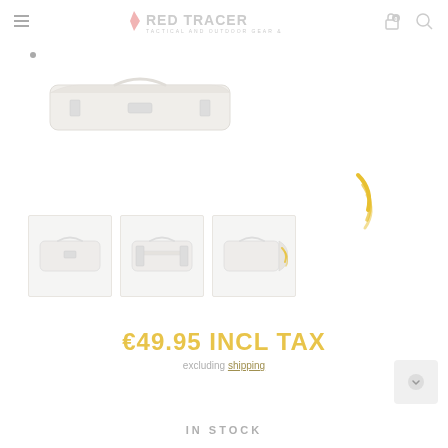[Figure (logo): Red Tracer Tactical and Outdoor Gear logo with arrow/chevron icon]
[Figure (photo): White tactical rifle case / gun bag shown from above at slight angle]
[Figure (photo): Three product thumbnail images of the white tactical bag from different angles]
[Figure (other): Yellow loading spinner animation]
€49.95 INCL TAX
excluding shipping
IN STOCK